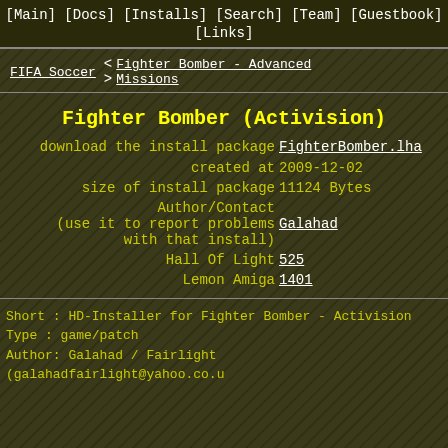[Main] [Docs] [Installs] [Search] [Team] [Guestbook] [Links]
FIFA Soccer < Fighter Bomber - Advanced Missions >
Fighter Bomber (Activision)
download the install package  FighterBomber.lha
created at  2009-12-02
size of install package  11124 Bytes
Author/Contact (use it to report problems with that install)  Galahad
Hall Of Light  525
Lemon Amiga  1401
Short : HD-Installer for Fighter Bomber - Activision
Type  : game/patch
Author: Galahad / Fairlight (galahadfairlight@yahoo.co.u